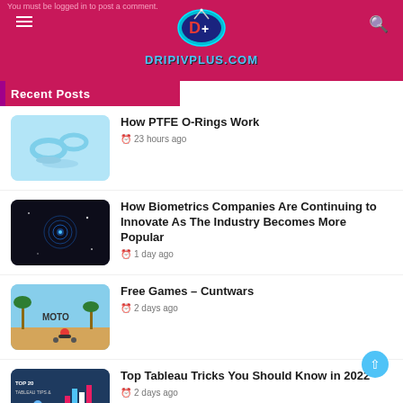You must be logged in to post a comment.
[Figure (logo): DripIVPlus.com logo with D+ icon on crimson background header]
Recent Posts
[Figure (photo): Light blue PTFE o-rings and discs on blue background]
How PTFE O-Rings Work
23 hours ago
[Figure (photo): Dark background with biometric fingerprint scanner glowing blue]
How Biometrics Companies Are Continuing to Innovate As The Industry Becomes More Popular
1 day ago
[Figure (photo): Moto game screenshot with beach, palm trees, motorcycle rider]
Free Games – Cuntwars
2 days ago
[Figure (screenshot): Top 20 Tableau Tips & tricks infographic cover image]
Top Tableau Tricks You Should Know in 2022
2 days ago